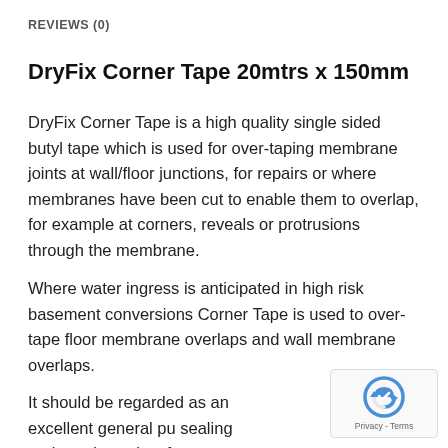REVIEWS (0)
DryFix Corner Tape 20mtrs x 150mm
DryFix Corner Tape is a high quality single sided butyl tape which is used for over-taping membrane joints at wall/floor junctions, for repairs or where membranes have been cut to enable them to overlap, for example at corners, reveals or protrusions through the membrane.
Where water ingress is anticipated in high risk basement conversions Corner Tape is used to over-tape floor membrane overlaps and wall membrane overlaps.
It should be regarded as an excellent general pu sealing and repair product for use with all Cavity Membrane systems.
[Figure (logo): reCAPTCHA logo with privacy and terms text]